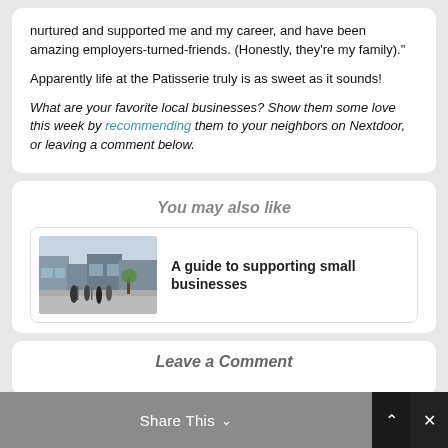nurtured and supported me and my career, and have been amazing employers-turned-friends. (Honestly, they're my family)."
Apparently life at the Patisserie truly is as sweet as it sounds!
What are your favorite local businesses? Show them some love this week by recommending them to your neighbors on Nextdoor, or leaving a comment below.
You may also like
[Figure (photo): Street scene with people walking along a sidewalk with shops]
A guide to supporting small businesses
Leave a Comment
Share This